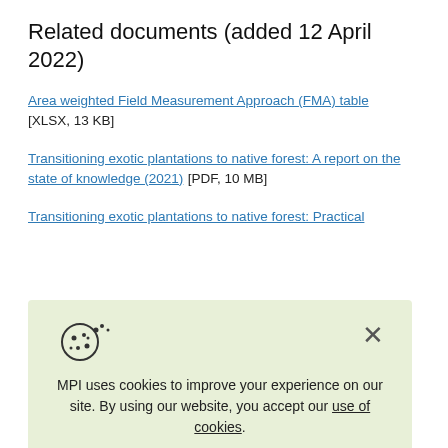Related documents (added 12 April 2022)
Area weighted Field Measurement Approach (FMA) table [XLSX, 13 KB]
Transitioning exotic plantations to native forest: A report on the state of knowledge (2021) [PDF, 10 MB]
Transitioning exotic plantations to native forest: Practical
[Figure (screenshot): Cookie consent banner with cookie icon, close (X) button, and text: MPI uses cookies to improve your experience on our site. By using our website, you accept our use of cookies.]
Mitigating an organisation's future net carbon emissions by